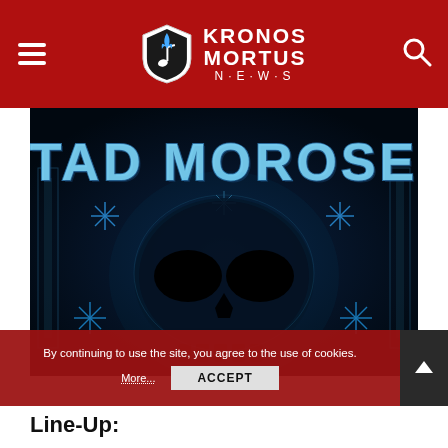Kronos Mortus News
[Figure (illustration): Tad Morose album cover featuring large blue metallic 3D lettering 'TAD MOROSE' above a dark blue crystalline skull with snowflake-like crystal decorations on a dark background]
By continuing to use the site, you agree to the use of cookies.
More... ACCEPT
Line-Up: